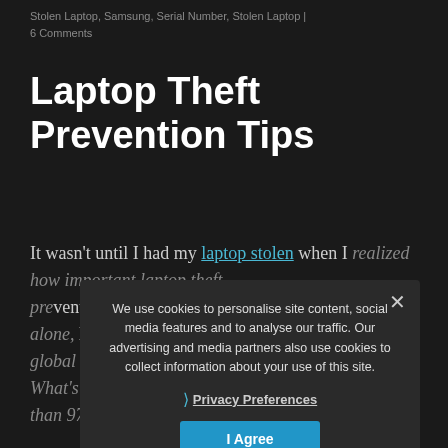Stolen Laptop, Samsung, Serial Number, Stolen Laptop | 6 Comments
Laptop Theft Prevention Tips
It wasn't until I had my laptop stolen when I realized how important laptop theft prevention is. The United States alone, laptop theft occurs frequently on a global scale. The numbers are frightening. What's even worse is the recovery rate — more than 97% of all stolen laptops is never recovered. Given that laptop theft is such frequently occurring and that chances of
We use cookies to personalise site content, social media features and to analyse our traffic. Our advertising and media partners also use cookies to collect information about your use of this site.
❯ Privacy Preferences
I Agree